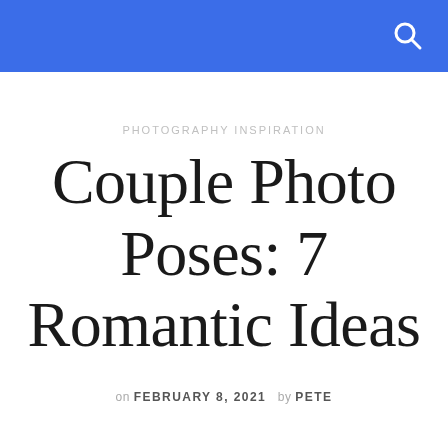PHOTOGRAPHY INSPIRATION
Couple Photo Poses: 7 Romantic Ideas
on FEBRUARY 8, 2021  by PETE